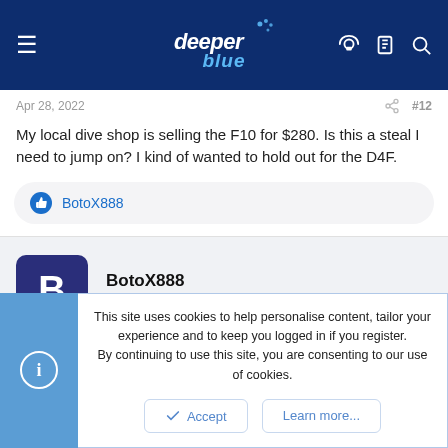deeper blue — navigation header
Apr 28, 2022  #12
My local dive shop is selling the F10 for $280. Is this a steal I need to jump on? I kind of wanted to hold out for the D4F.
BotoX888
BotoX888
New Member
This site uses cookies to help personalise content, tailor your experience and to keep you logged in if you register.
By continuing to use this site, you are consenting to our use of cookies.
Accept  Learn more...